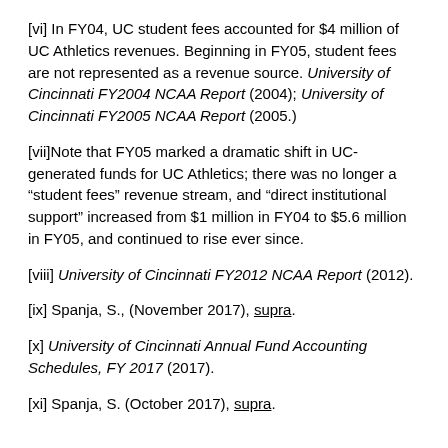[vi] In FY04, UC student fees accounted for $4 million of UC Athletics revenues. Beginning in FY05, student fees are not represented as a revenue source. University of Cincinnati FY2004 NCAA Report (2004); University of Cincinnati FY2005 NCAA Report (2005.)
[vii]Note that FY05 marked a dramatic shift in UC-generated funds for UC Athletics; there was no longer a “student fees” revenue stream, and “direct institutional support” increased from $1 million in FY04 to $5.6 million in FY05, and continued to rise ever since.
[viii] University of Cincinnati FY2012 NCAA Report (2012).
[ix] Spanja, S., (November 2017), supra.
[x] University of Cincinnati Annual Fund Accounting Schedules, FY 2017 (2017).
[xi] Spanja, S. (October 2017), supra.